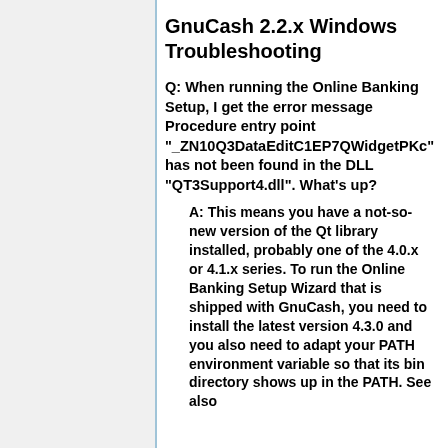GnuCash 2.2.x Windows Troubleshooting
Q: When running the Online Banking Setup, I get the error message Procedure entry point "_ZN10Q3DataEditC1EP7QWidgetPKc" has not been found in the DLL "QT3Support4.dll". What's up?
A: This means you have a not-so-new version of the Qt library installed, probably one of the 4.0.x or 4.1.x series. To run the Online Banking Setup Wizard that is shipped with GnuCash, you need to install the latest version 4.3.0 and you also need to adapt your PATH environment variable so that its bin directory shows up in the PATH. See also...